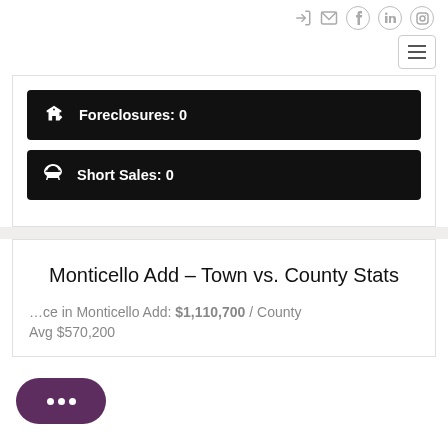Navigation icons (login, mail, facebook, linkedin, instagram) and hamburger menu button
Foreclosures: 0
Short Sales: 0
Monticello Add - Town vs. County Stats
Avg Price in Monticello Add: $1,110,700 / County Avg $570,200